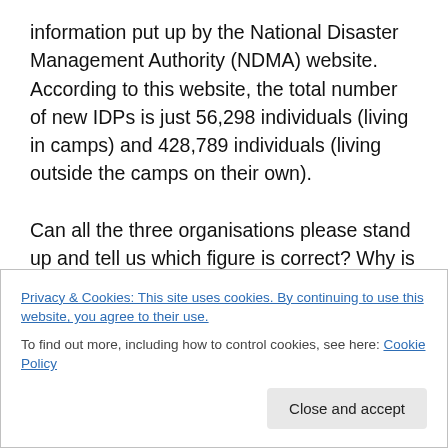information put up by the National Disaster Management Authority (NDMA) website. According to this website, the total number of new IDPs is just 56,298 individuals (living in camps) and 428,789 individuals (living outside the camps on their own).

Can all the three organisations please stand up and tell us which figure is correct? Why is there such a big gap between the NDMA and the other two? We need answers before we jump to the conclusion that someone, somewhere is making mega-bucks by presenting dummy
Privacy & Cookies: This site uses cookies. By continuing to use this website, you agree to their use.
To find out more, including how to control cookies, see here: Cookie Policy
Close and accept